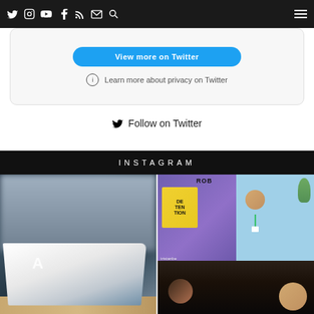Navigation bar with social icons: Twitter, Instagram, YouTube, Facebook, RSS, Email, Search, and hamburger menu
[Figure (screenshot): Twitter widget with 'View more on Twitter' button and 'Learn more about privacy on Twitter' text]
Follow on Twitter
INSTAGRAM
[Figure (photo): Left: close-up photo of an open book/magazine with dark cover showing large letter 'A'. Right: person speaking at an event with green lanyard, books/signs visible in background, audience in foreground.]